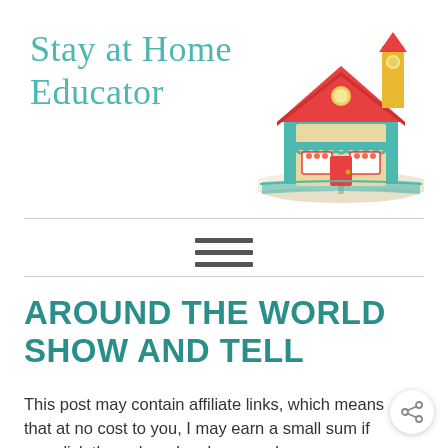Stay at Home Educator
[Figure (illustration): Colorful cartoon illustration of a house with a red roof sitting on top of an open book, serving as a website logo]
AROUND THE WORLD SHOW AND TELL
This post may contain affiliate links, which means that at no cost to you, I may earn a small sum if you click through and make a purchase.